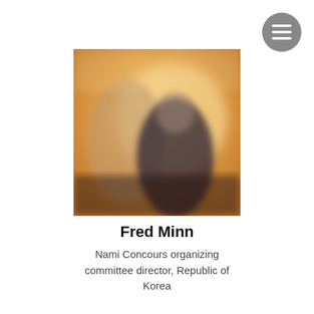[Figure (photo): Blurred photograph of people, warm orange/yellow ambient background with dark-clothed figures in foreground]
Fred Minn
Nami Concours organizing committee director, Republic of Korea